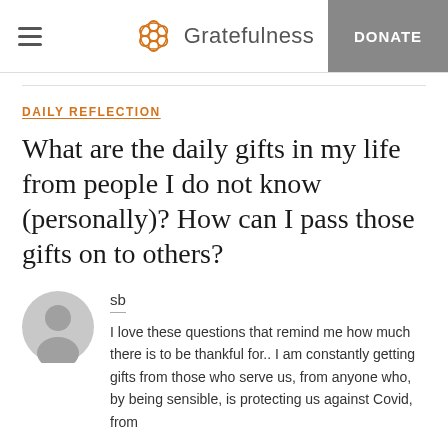Gratefulness | DONATE
DAILY REFLECTION
What are the daily gifts in my life from people I do not know (personally)? How can I pass those gifts on to others?
sb
I love these questions that remind me how much there is to be thankful for.. I am constantly getting gifts from those who serve us, from anyone who, by being sensible, is protecting us against Covid, from